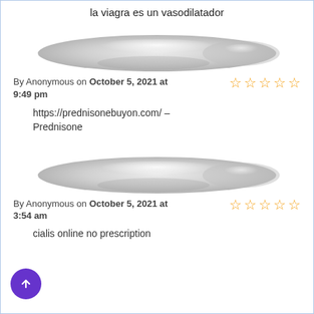la viagra es un vasodilatador
[Figure (illustration): Grayscale avatar/profile placeholder image shaped like an arch/pill]
By Anonymous on October 5, 2021 at 9:49 pm
https://prednisonebuyon.com/ – Prednisone
[Figure (illustration): Grayscale avatar/profile placeholder image shaped like an arch/pill]
By Anonymous on October 5, 2021 at 3:54 am
cialis online no prescription